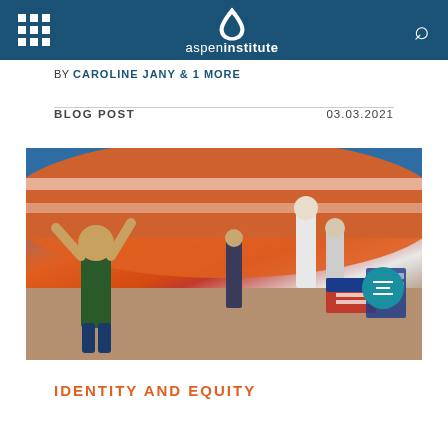Aspen Institute
BY CAROLINE JANY & 1 MORE
BLOG POST   03.03.2021
[Figure (photo): People holding up a large American flag at an outdoor rally or event. A smiling child in a green striped shirt stands in the foreground with arms raised. Other participants visible in background with immigration-related signs.]
IDENTITY AND EQUITY